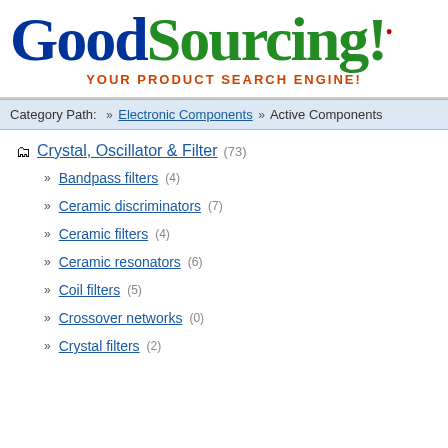[Figure (logo): GoodSourcing! logo with tagline 'Your Product Search Engine!']
Category Path: » Electronic Components » Active Components
Crystal, Oscillator & Filter (73)
» Bandpass filters (4)
» Ceramic discriminators (7)
» Ceramic filters (4)
» Ceramic resonators (6)
» Coil filters (5)
» Crossover networks (0)
» Crystal filters (2)